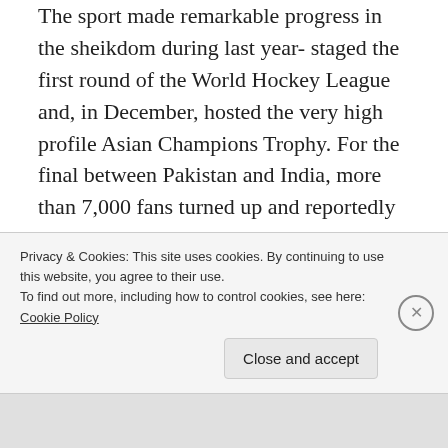The sport made remarkable progress in the sheikdom during last year- staged the first round of the World Hockey League and, in December, hosted the very high profile Asian Champions Trophy. For the final between Pakistan and India, more than 7,000 fans turned up and reportedly some paid 500 riyals to buy tickets with face value of only 10.

The highly ambitious Qatar Hockey Federation has loftier goals, and desires to do something revolutionary – which could stun the world of
Privacy & Cookies: This site uses cookies. By continuing to use this website, you agree to their use.
To find out more, including how to control cookies, see here: Cookie Policy
Close and accept